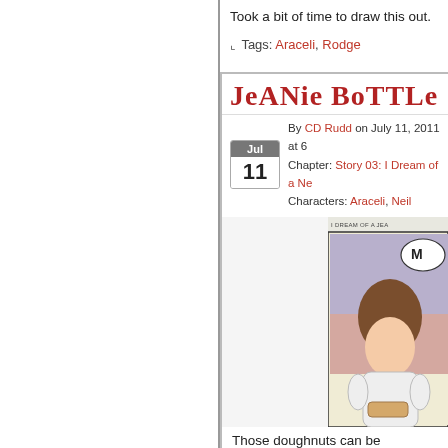Took a bit of time to draw this out.
Tags: Araceli, Rodge
JeANie BoTTLe
By CD Rudd on July 11, 2011 at 6: Chapter: Story 03: I Dream of a N… Characters: Araceli, Neil
[Figure (illustration): Partial view of a comic strip panel showing a character with brown hair, comic title 'I DREAM OF A JEA' visible at top, character appears to be holding something, background has purple and pink/tan color blocks]
Those doughnuts can be dangerous